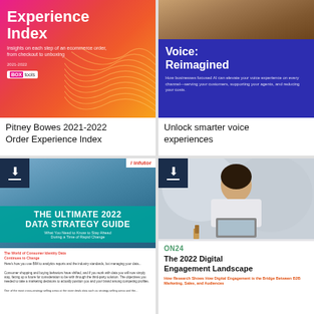[Figure (illustration): Cover image of Pitney Bowes 2021-2022 Order Experience Index report with gradient pink/orange background and wave pattern]
Pitney Bowes 2021-2022 Order Experience Index
[Figure (illustration): Cover of Voice: Reimagined report with woman on phone and blue panel]
Unlock smarter voice experiences
[Figure (illustration): Cover of The Ultimate 2022 Data Strategy Guide by Infutor with download badge]
[Figure (illustration): Cover of The 2022 Digital Engagement Landscape by ON24 with download badge, woman at laptop]